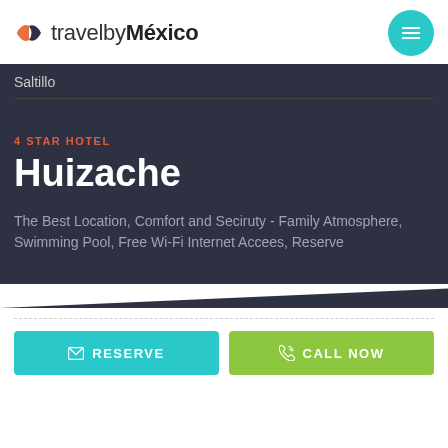[Figure (logo): travelbyMéxico logo with stylized compass/map icon in orange and red on left, text 'travelbyMéxico' in dark gray with bold 'México']
[Figure (other): Teal circular hamburger menu button in top right corner]
Saltillo
4 STAR HOTEL
Huizache
The Best Location, Comfort and Seciruty - Family Atmosphere, Swimming Pool, Free Wi-Fi Internet Accees, Reserve
RESERVE
CALL NOW